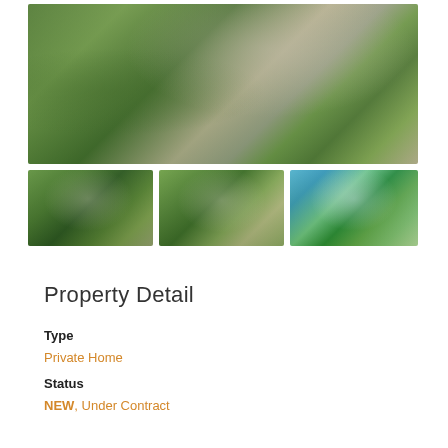[Figure (photo): Aerial view of a modern private home with circular driveway surrounded by lush green landscaping and gardens]
[Figure (photo): Aerial view of a two-story modern home with attached garage, surrounded by green hillside vegetation]
[Figure (photo): Aerial view of a modern home with pool surrounded by tropical vegetation on a hillside]
[Figure (photo): Infinity pool with wooden deck overlooking ocean and tropical trees under blue sky with clouds]
Property Detail
Type
Private Home
Status
NEW, Under Contract